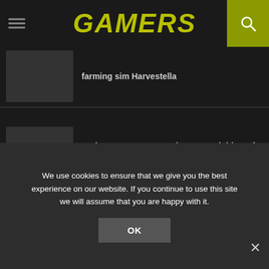GAMERS
farming sim Harvestella
Embracer Group completes acquisition of Square Enix's western studios
Disney Dreamlight Valley has a free character creator available now
We use cookies to ensure that we give you the best experience on our website. If you continue to use this site we will assume that you are happy with it.